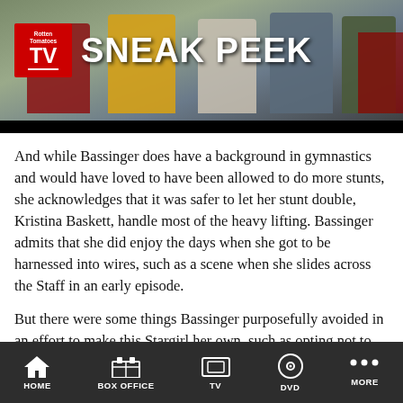[Figure (screenshot): Rotten Tomatoes TV Sneak Peek banner with group of people standing near a vehicle outdoors]
And while Bassinger does have a background in gymnastics and would have loved to have been allowed to do more stunts, she acknowledges that it was safer to let her stunt double, Kristina Baskett, handle most of the heavy lifting. Bassinger admits that she did enjoy the days when she got to be harnessed into wires, such as a scene when she slides across the Staff in an early episode.
But there were some things Bassinger purposefully avoided in an effort to make this Stargirl her own, such as opting not to watch Britt Irvin portrayal of the character on Smallville or Sarah Grey's on DC's Legends of Tomorrow. Both of those shows featured an
HOME   BOX OFFICE   TV   DVD   MORE